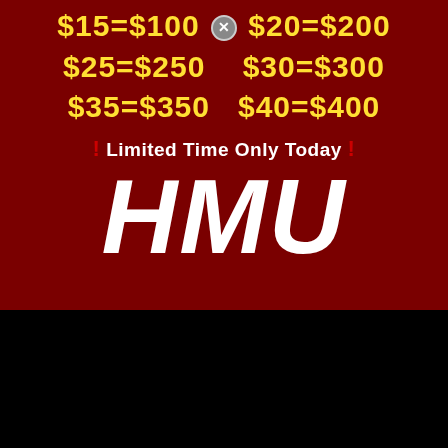[Figure (infographic): Dark red background promotional graphic showing dollar amount flip conversion rates in yellow text: $15=$100, $20=$200, $25=$250, $30=$300, $35=$350, $40=$400. Below reads 'Limited Time Only Today' in white with red exclamation marks, then large white italic bold 'HMU' text.]
[Figure (screenshot): Screenshot of a social media post (Snapchat/Cash App) showing a green S icon, a Follow link, three-dot menu, and a photo of scattered currency bills (paper money) with an X close button overlay and a grey scroll-up button.]